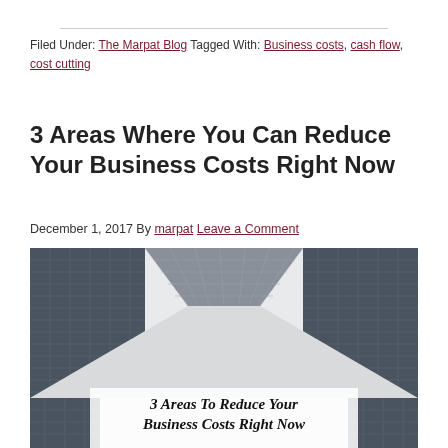Filed Under: The Marpat Blog Tagged With: Business costs, cash flow, cost cutting
3 Areas Where You Can Reduce Your Business Costs Right Now
December 1, 2017 By marpat Leave a Comment
[Figure (photo): Upward-looking view of tall glass office buildings against a white sky with text overlay reading '3 Areas To Reduce Your Business Costs Right Now']